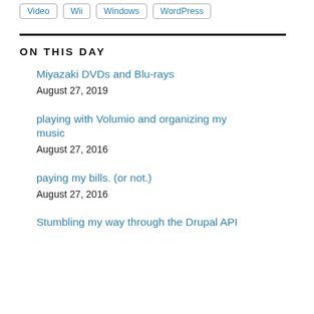Video | Wii | Windows | WordPress
ON THIS DAY
Miyazaki DVDs and Blu-rays
August 27, 2019
playing with Volumio and organizing my music
August 27, 2016
paying my bills. (or not.)
August 27, 2016
Stumbling my way through the Drupal API